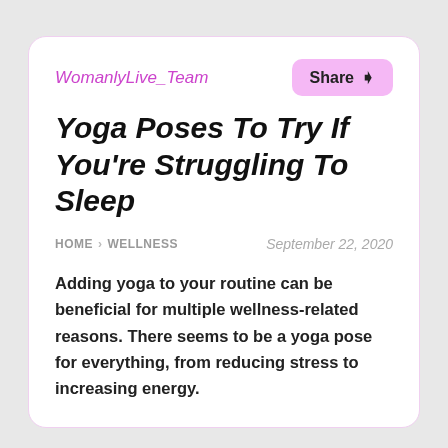WomanlyLive_Team
Yoga Poses To Try If You're Struggling To Sleep
HOME › WELLNESS   September 22, 2020
Adding yoga to your routine can be beneficial for multiple wellness-related reasons. There seems to be a yoga pose for everything, from reducing stress to increasing energy.